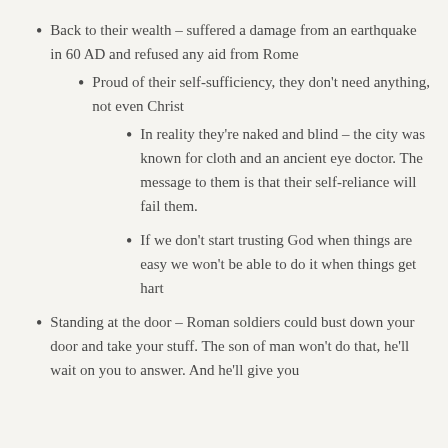Back to their wealth – suffered a damage from an earthquake in 60 AD and refused any aid from Rome
Proud of their self-sufficiency, they don't need anything, not even Christ
In reality they're naked and blind – the city was known for cloth and an ancient eye doctor. The message to them is that their self-reliance will fail them.
If we don't start trusting God when things are easy we won't be able to do it when things get hart
Standing at the door – Roman soldiers could bust down your door and take your stuff. The son of man won't do that, he'll wait on you to answer. And he'll give you